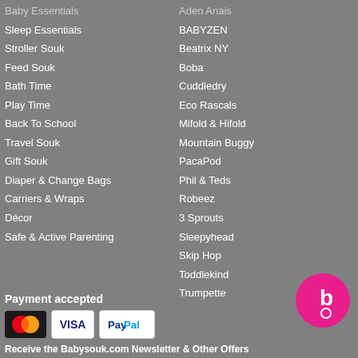Baby Essentials
Sleep Essentials
Stroller Souk
Feed Souk
Bath Time
Play Time
Back To School
Travel Souk
Gift Souk
Diaper & Change Bags
Carriers & Wraps
Décor
Safe & Active Parenting
Aden Anais
BABYZEN
Beatrix NY
Boba
Cuddledry
Eco Rascals
Mifold & Hifold
Mountain Buggy
PacaPod
Phil & Teds
Robeez
3 Sprouts
Sleepyhead
Skip Hop
Toddlekind
Trumpette
Payment accepted
[Figure (logo): Payment method logos: MasterCard, Visa, PayPal]
Receive the Babysouk.com Newsletter & Other Offers
[Figure (logo): Babysouk logo - pink circle with white 'b' letter]